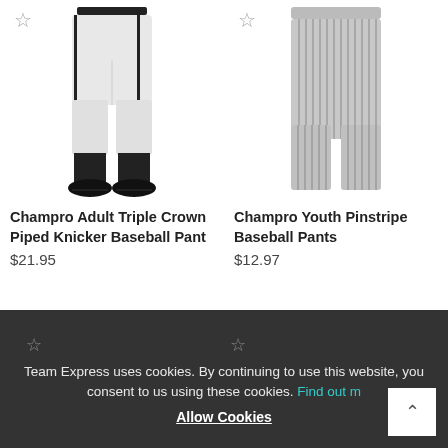[Figure (photo): Champro Adult Triple Crown Piped Knicker Baseball Pant product image showing white knicker pants with black piping, worn with black socks and cleats]
Champro Adult Triple Crown Piped Knicker Baseball Pant
$21.95
[Figure (photo): Champro Youth Pinstripe Baseball Pants product image showing gray pants with vertical pinstripes]
Champro Youth Pinstripe Baseball Pants
$12.97
Team Express uses cookies. By continuing to use this website, you consent to us using these cookies. Find out more
Allow Cookies